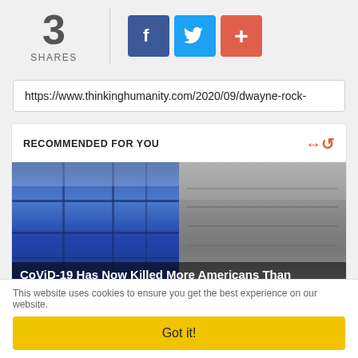3 SHARES
[Figure (screenshot): Social share buttons: Facebook (blue), Twitter (light blue), Google+ (red/orange)]
https://www.thinkinghumanity.com/2020/09/dwayne-rock-
RECOMMENDED FOR YOU
[Figure (photo): Two images side by side: left shows a COVID-19 field hospital with blue cubicle partitions; right shows a historical black-and-white photo of a hospital ward with patients on cots]
CoViD-19 Has Now Killed More Americans Than
This website uses cookies to ensure you get the best experience on our website.
Got it!